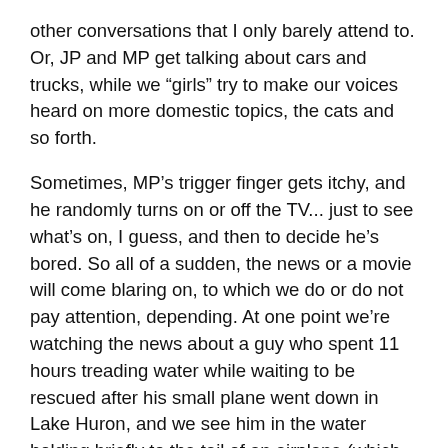other conversations that I only barely attend to. Or, JP and MP get talking about cars and trucks, while we “girls” try to make our voices heard on more domestic topics, the cats and so forth.
Sometimes, MP’s trigger finger gets itchy, and he randomly turns on or off the TV... just to see what’s on, I guess, and then to decide he’s bored. So all of a sudden, the news or a movie will come blaring on, to which we do or do not pay attention, depending. At one point we’re watching the news about a guy who spent 11 hours treading water while waiting to be rescued after his small plane went down in Lake Huron, and we see him in the water holding briefly to the tail of an airplane (which had to have been a reenactment—weird). He’s describing how he held on as long as he could, and then he says, “And then… she’s going down…” and I pipe up, “Honey, this is